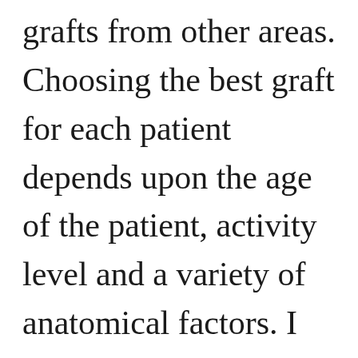different soft tissue grafts from other areas. Choosing the best graft for each patient depends upon the age of the patient, activity level and a variety of anatomical factors. I